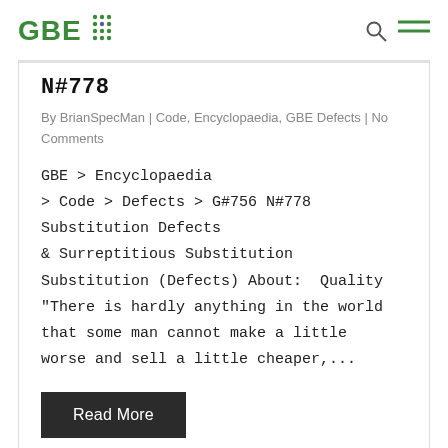GBE
N#778
By BrianSpecMan | Code, Encyclopaedia, GBE Defects | No Comments
GBE > Encyclopaedia > Code > Defects > G#756 N#778 Substitution Defects & Surreptitious Substitution
Substitution (Defects) About:  Quality "There is hardly anything in the world that some man cannot make a little worse and sell a little cheaper,...
Read More